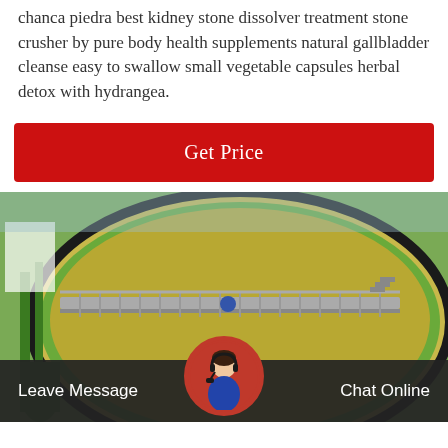chanca piedra best kidney stone dissolver treatment stone crusher by pure body health supplements natural gallbladder cleanse easy to swallow small vegetable capsules herbal detox with hydrangea.
[Figure (other): Red 'Get Price' button]
[Figure (photo): Aerial view of a large circular industrial settling/thickener tank with green metal walkway/bridge structure, viewed from above, industrial facility.]
Leave Message   Chat Online